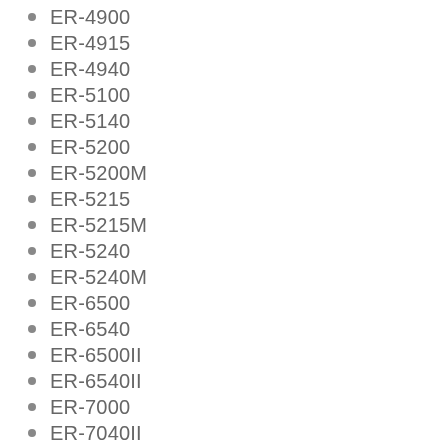ER-4900
ER-4915
ER-4940
ER-5100
ER-5140
ER-5200
ER-5200M
ER-5215
ER-5215M
ER-5240
ER-5240M
ER-6500
ER-6540
ER-6500II
ER-6540II
ER-7000
ER-7040II
Tabby